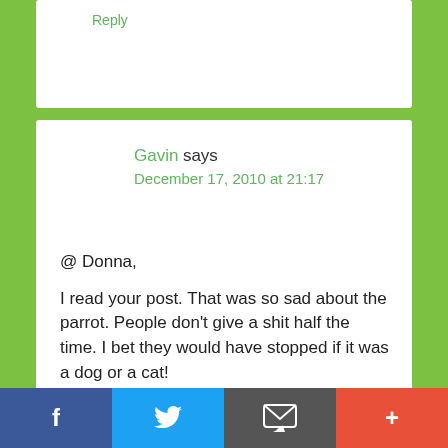Reply
Gavin says
December 17, 2010 at 21:17
@ Donna,

I read your post. That was so sad about the parrot. People don't give a shit half the time. I bet they would have stopped if it was a dog or a cat!

@ Dad,
f  [Twitter bird]  [Email icon]  +